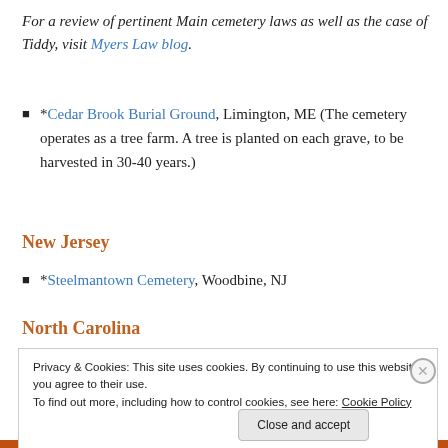For a review of pertinent Main cemetery laws as well as the case of Tiddy, visit Myers Law blog.
*Cedar Brook Burial Ground, Limington, ME (The cemetery operates as a tree farm. A tree is planted on each grave, to be harvested in 30-40 years.)
New Jersey
*Steelmantown Cemetery, Woodbine, NJ
North Carolina
Privacy & Cookies: This site uses cookies. By continuing to use this website, you agree to their use. To find out more, including how to control cookies, see here: Cookie Policy